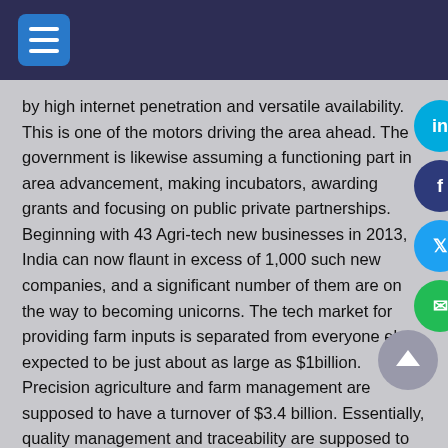by high internet penetration and versatile availability. This is one of the motors driving the area ahead. The government is likewise assuming a functioning part in area advancement, making incubators, awarding grants and focusing on public private partnerships. Beginning with 43 Agri-tech new businesses in 2013, India can now flaunt in excess of 1,000 such new companies, and a significant number of them are on the way to becoming unicorns. The tech market for providing farm inputs is separated from everyone else expected to be just about as large as $1billion. Precision agriculture and farm management are supposed to have a turnover of $3.4 billion. Essentially, quality management and traceability are supposed to contribute a sum total of $3 billion.
The Govt. has likewise proposed a few projects, through which